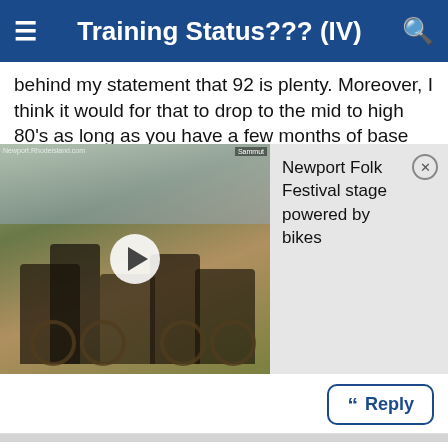Training Status??? (IV)
behind my statement that 92 is plenty. Moreover, I think it would for that to drop to the mid to high 80's as long as you have a few months of base building so you can focus on
[Figure (screenshot): Embedded video thumbnail showing people with bicycles at an outdoor festival. Overlay card reads: 'Newport Folk Festival stage powered by bikes' with a close (X) button.]
Reply
#16785
TMonk , 01-21-22 10:27 AM
Not actually Tmonk
For some context, I'm a 35 year old cat 2 in SCNCA and my CTL has topped out at around 100 last few years towards the end of winter, and stayed in the 90-100 range through Spring, where it start slipping towards a minimum of 70 or